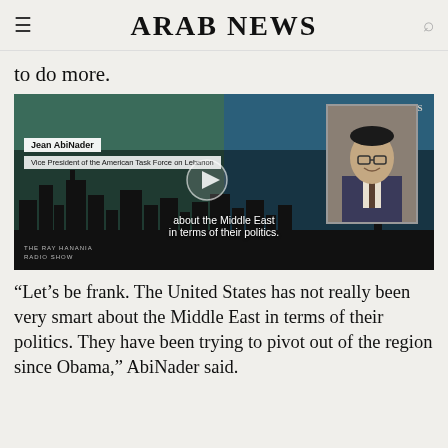ARAB NEWS
to do more.
[Figure (screenshot): Video thumbnail from Arab News / The Ray Hanania Radio Show featuring Jean AbiNader, Vice President of the American Task Force on Lebanon, with text 'about the Middle East in terms of their politics.' overlaid on a dark city skyline background.]
“Let’s be frank. The United States has not really been very smart about the Middle East in terms of their politics. They have been trying to pivot out of the region since Obama,” AbiNader said.